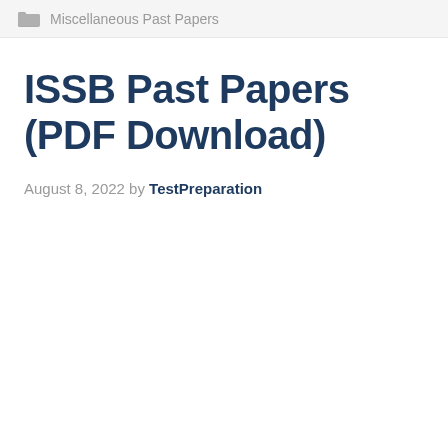Miscellaneous Past Papers
ISSB Past Papers (PDF Download)
August 8, 2022 by TestPreparation